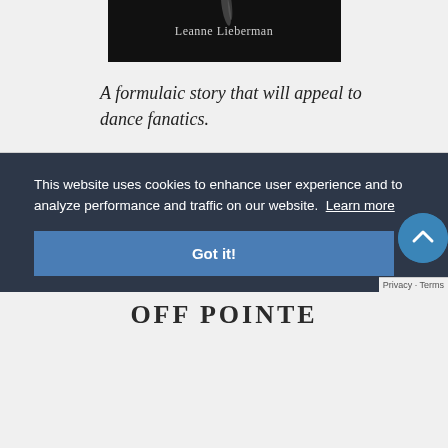[Figure (photo): Book cover showing 'Leanne Lieberman' text on dark/black background with a feather motif]
A formulaic story that will appeal to dance fanatics.
This website uses cookies to enhance user experience and to analyze performance and traffic on our website.  Learn more
Got it!
OFF POINTE